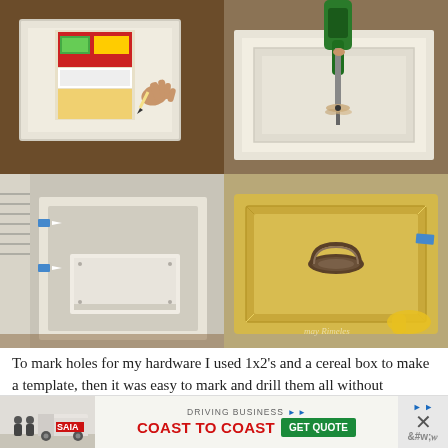[Figure (photo): Four-panel photo grid showing DIY drawer hardware process: top-left shows hands using a cereal box as template to mark holes on white cabinet door; top-right shows power drill drilling holes in white wood panel; bottom-left shows open cabinet with drawer box and blue painter's tape markers; bottom-right shows finished yellow-painted drawer with antique pull hardware being installed]
To mark holes for my hardware I used 1x2's and a cereal box to make a template, then it was easy to mark and drill them all without measuring.  In the bottom left you can see I used scotch blue painter's tape to mark where I needed to nail when I was attaching my drawer fronts.  I used shims to keep my
[Figure (photo): Advertisement banner: SIA trucking company ad with two figures near a truck, text reading DRIVING BUSINESS COAST TO COAST with GET QUOTE button, and close/dismiss controls]